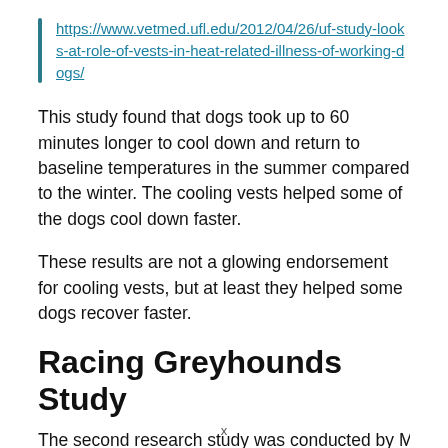https://www.vetmed.ufl.edu/2012/04/26/uf-study-looks-at-role-of-vests-in-heat-related-illness-of-working-dogs/
This study found that dogs took up to 60 minutes longer to cool down and return to baseline temperatures in the summer compared to the winter. The cooling vests helped some of the dogs cool down faster.
These results are not a glowing endorsement for cooling vests, but at least they helped some dogs recover faster.
Racing Greyhounds Study
The second research study was conducted by McNicholl